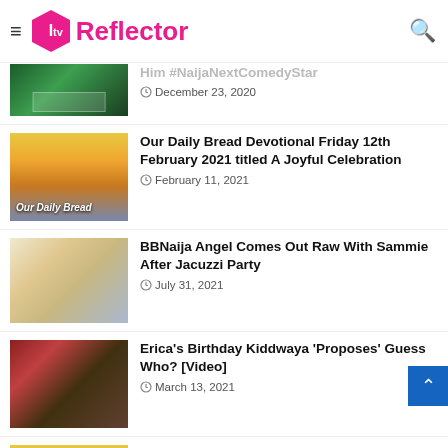TV Reflector
Aproko Jokes Made Audience Chased Him #NaijaNextComedyStar – December 23, 2020
Our Daily Bread Devotional Friday 12th February 2021 titled A Joyful Celebration – February 11, 2021
BBNaija Angel Comes Out Raw With Sammie After Jacuzzi Party – July 31, 2021
Erica's Birthday Kiddwaya 'Proposes' Guess Who?  [Video] – March 13, 2021
Giving Our Best – Our Daily Bread Devotional Monday 30th November